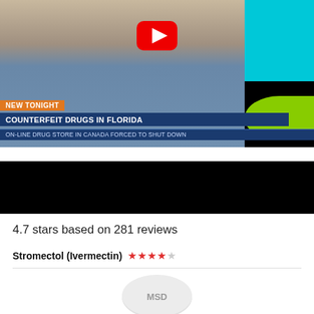[Figure (screenshot): YouTube video thumbnail showing a man with beard wearing blue shirt, with YouTube play button overlay. News lower-third graphic with orange 'NEW TONIGHT' label and blue banner reading 'COUNTERFEIT DRUGS IN FLORIDA' and sub-line 'ON-LINE DRUG STORE IN CANADA FORCED TO SHUT DOWN'. Right side shows cyan and green colored panels.]
[Figure (screenshot): Black video player area (second video or loading state)]
4.7 stars based on 281 reviews
Stromectol (Ivermectin) ★★★★☆
[Figure (photo): Circular white/gray pill tablet with 'MSD' imprint, partially visible at bottom of page]